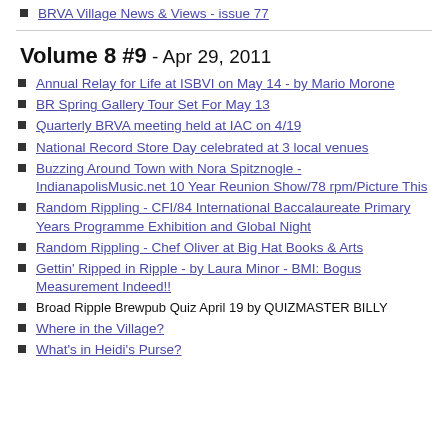BRVA Village News & Views - issue 77
Volume 8 #9 - Apr 29, 2011
Annual Relay for Life at ISBVI on May 14 - by Mario Morone
BR Spring Gallery Tour Set For May 13
Quarterly BRVA meeting held at IAC on 4/19
National Record Store Day celebrated at 3 local venues
Buzzing Around Town with Nora Spitznogle - IndianapolisMusic.net 10 Year Reunion Show/78 rpm/Picture This
Random Rippling - CFI/84 International Baccalaureate Primary Years Programme Exhibition and Global Night
Random Rippling - Chef Oliver at Big Hat Books & Arts
Gettin' Ripped in Ripple - by Laura Minor - BMI: Bogus Measurement Indeed!!
Broad Ripple Brewpub Quiz April 19 by QUIZMASTER BILLY
Where in the Village?
What's in Heidi's Purse?